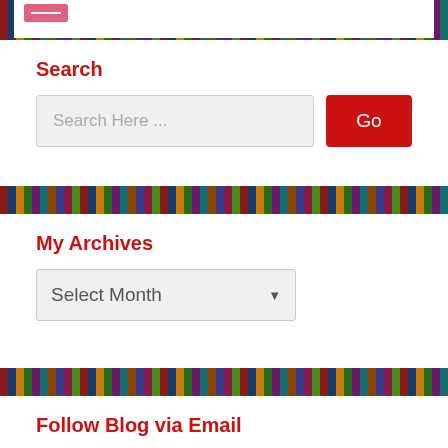[Figure (screenshot): Top white panel with partial pink image/logo visible]
Search
Search Here ...
Go
My Archives
Select Month
Follow Blog via Email
Enter your email address to follow this blog and receive notifications of new posts by email.